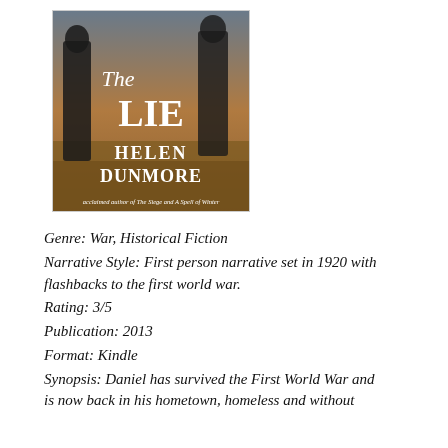[Figure (illustration): Book cover of 'The Lie' by Helen Dunmore. Shows two soldiers/figures in dark silhouette against a brownish outdoor background. White text reads 'The LIE HELEN DUNMORE' and at the bottom smaller text reads 'acclaimed author of The Siege and A Spell of Winter'.]
Genre: War, Historical Fiction
Narrative Style: First person narrative set in 1920 with flashbacks to the first world war.
Rating: 3/5
Publication: 2013
Format: Kindle
Synopsis: Daniel has survived the First World War and is now back in his hometown, homeless and without